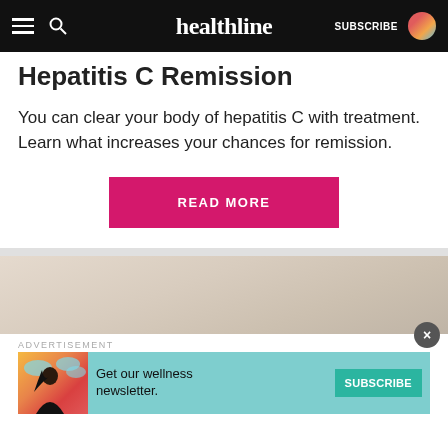healthline | SUBSCRIBE
Hepatitis C Remission
You can clear your body of hepatitis C with treatment. Learn what increases your chances for remission.
READ MORE
[Figure (photo): Blurred light-colored background photo, partial view]
ADVERTISEMENT
[Figure (illustration): Advertisement banner: woman illustration with teal background. Text: Get our wellness newsletter. SUBSCRIBE button.]